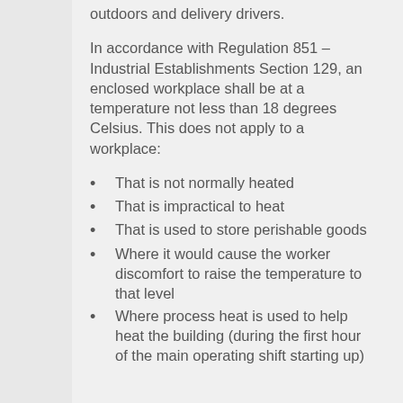outdoors and delivery drivers.
In accordance with Regulation 851 – Industrial Establishments Section 129, an enclosed workplace shall be at a temperature not less than 18 degrees Celsius. This does not apply to a workplace:
That is not normally heated
That is impractical to heat
That is used to store perishable goods
Where it would cause the worker discomfort to raise the temperature to that level
Where process heat is used to help heat the building (during the first hour of the main operating shift starting up)